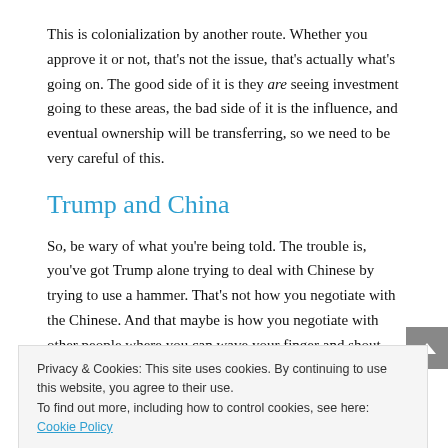This is colonialization by another route. Whether you approve it or not, that's not the issue, that's actually what's going on. The good side of it is they are seeing investment going to these areas, the bad side of it is the influence, and eventual ownership will be transferring, so we need to be very careful of this.
Trump and China
So, be wary of what you're being told. The trouble is, you've got Trump alone trying to deal with Chinese by trying to use a hammer. That's not how you negotiate with the Chinese. And that maybe is how you negotiate with other people where you can wave your finger and shout
that have already been discussed and some of its
Privacy & Cookies: This site uses cookies. By continuing to use this website, you agree to their use.
To find out more, including how to control cookies, see here: Cookie Policy